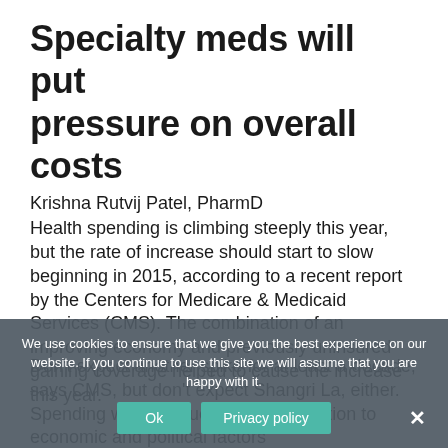Specialty meds will put pressure on overall costs
Krishna Rutvij Patel, PharmD
Health spending is climbing steeply this year, but the rate of increase should start to slow beginning in 2015, according to a recent report by the Centers for Medicare & Medicaid Services (CMS). The combination of an improving economy and previously uninsured gaining coverage helped to cause the increase this year.
Don't expect another spike for at least a decade, says CMS, but don't expect Shangri La, either. Spending will continue to rise. In addition to economic and political factors
We use cookies to ensure that we give you the best experience on our website. If you continue to use this site we will assume that you are happy with it.